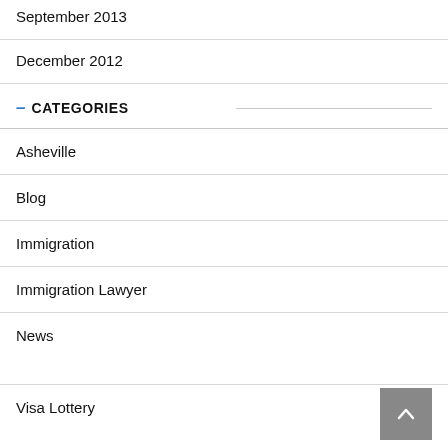September 2013
December 2012
CATEGORIES
Asheville
Blog
Immigration
Immigration Lawyer
News
Visa Lottery